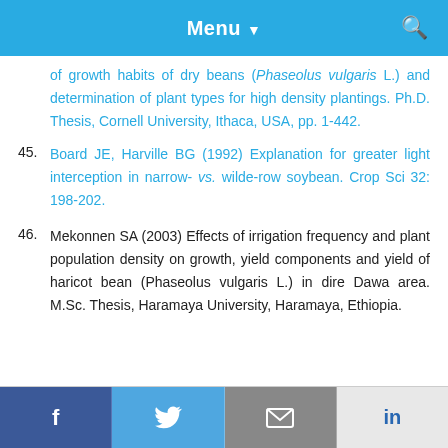Menu
of growth habits of dry beans (Phaseolus vulgaris L.) and determination of plant types for high density plantings. Ph.D. Thesis, Cornell University, Ithaca, USA, pp. 1-442.
45. Board JE, Harville BG (1992) Explanation for greater light interception in narrow- vs. wilde-row soybean. Crop Sci 32: 198-202.
46. Mekonnen SA (2003) Effects of irrigation frequency and plant population density on growth, yield components and yield of haricot bean (Phaseolus vulgaris L.) in dire Dawa area. M.Sc. Thesis, Haramaya University, Haramaya, Ethiopia.
f  Twitter  Email  in